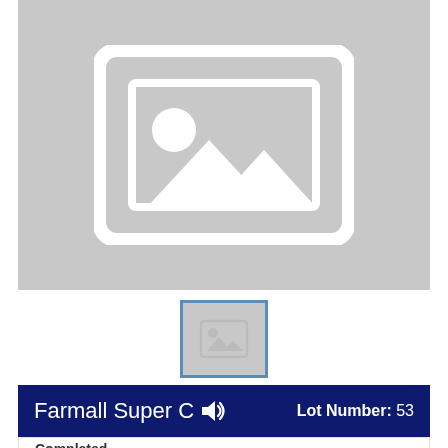[Figure (photo): Placeholder image with grey background showing a generic image icon (mountain/landscape placeholder).]
[Figure (photo): Small thumbnail placeholder image with blue border.]
Farmall Super C  Lot Number: 53
Completed